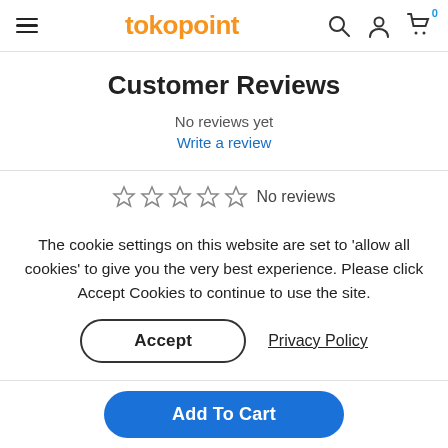tokopoint
Customer Reviews
No reviews yet
Write a review
☆ ☆ ☆ ☆ ☆  No reviews
The cookie settings on this website are set to 'allow all cookies' to give you the very best experience. Please click Accept Cookies to continue to use the site.
Accept
Privacy Policy
Add To Cart